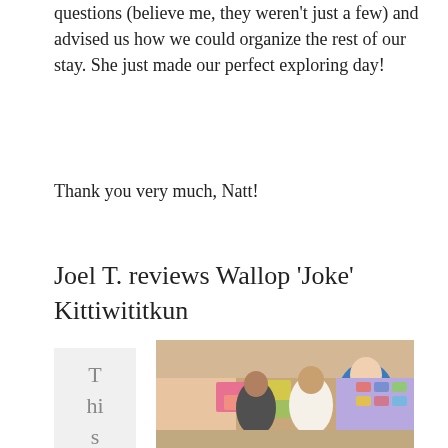questions (believe me, they weren't just a few) and advised us how we could organize the rest of our stay. She just made our perfect exploring day!
Thank you very much, Natt!
Joel T. reviews Wallop 'Joke' Kittiwititkun
[Figure (photo): A photo of three people standing together in front of a colorful display of sandals/flip-flops. One person is wearing a blue polo shirt.]